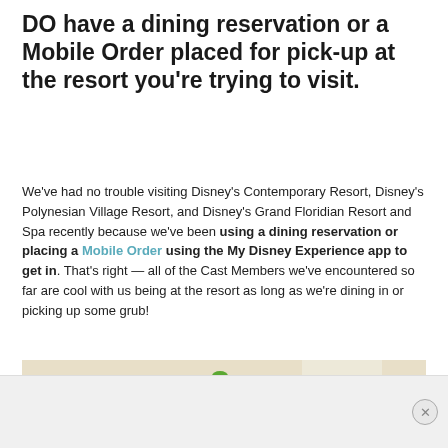DO have a dining reservation or a Mobile Order placed for pick-up at the resort you're trying to visit.
We've had no trouble visiting Disney's Contemporary Resort, Disney's Polynesian Village Resort, and Disney's Grand Floridian Resort and Spa recently because we've been using a dining reservation or placing a Mobile Order using the My Disney Experience app to get in. That's right — all of the Cast Members we've encountered so far are cool with us being at the resort as long as we're dining in or picking up some grub!
[Figure (photo): A Bloody Mary style cocktail in a tall red glass with a salted rim, garnished with celery, pickles, and a lemon wedge, sitting on a table in a bright, airy resort dining room with wooden chairs in the background.]